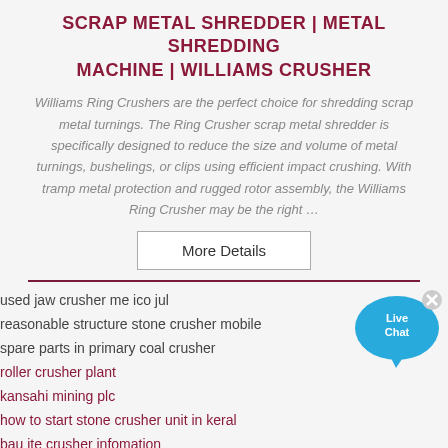SCRAP METAL SHREDDER | METAL SHREDDING MACHINE | WILLIAMS CRUSHER
Williams Ring Crushers are the perfect choice for shredding scrap metal turnings. The Ring Crusher scrap metal shredder is specifically designed to reduce the size and volume of metal turnings, bushelings, or clips using efficient impact crushing. With tramp metal protection and rugged rotor assembly, the Williams Ring Crusher may be the right …
[Figure (illustration): Live Chat speech bubble icon with blue color and 'x' close button]
More Details
used jaw crusher me ico jul
reasonable structure stone crusher mobile
spare parts in primary coal crusher
roller crusher plant
kansahi mining plc
how to start stone crusher unit in keral
bau ite crusher infomation
wear resistant for stone crusher australia